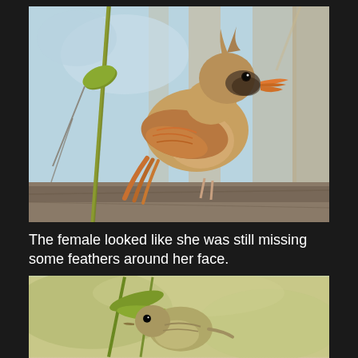[Figure (photo): A female Northern Cardinal perched on a branch surrounded by twigs and leaves. The bird has brownish-tan plumage with orange-red wing and tail feathers, an orange beak, and a dark mask area around the face suggesting missing feathers. Background shows blurred tree trunks and light blue sky.]
The female looked like she was still missing some feathers around her face.
[Figure (photo): A small brownish-olive bird, possibly a juvenile or female cardinal, perched among green plant stems and leaves. The bird appears small and round with a subtle eye visible.]